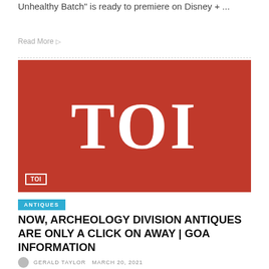Unhealthy Batch" is ready to premiere on Disney + ...
Read More
[Figure (logo): Times of India (TOI) logo — white serif letters 'TOI' on a red background, with a small red TOI badge in the bottom-left corner.]
ANTIQUES
NOW, ARCHEOLOGY DIVISION ANTIQUES ARE ONLY A CLICK ON AWAY | GOA INFORMATION
GERALD TAYLOR  MARCH 20, 2021